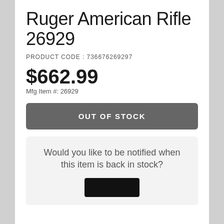Ruger American Rifle 26929
PRODUCT CODE : 736676269297
$662.99
Mfg Item #: 26929
OUT OF STOCK
Would you like to be notified when this item is back in stock?